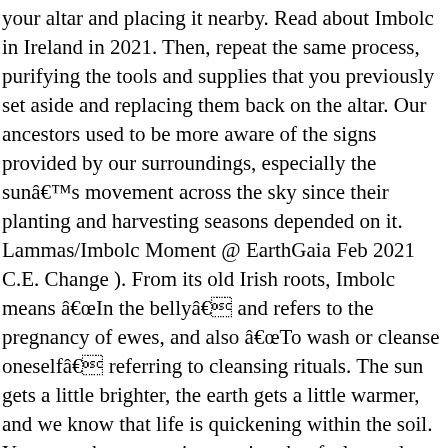your altar and placing it nearby. Read about Imbolc in Ireland in 2021. Then, repeat the same process, purifying the tools and supplies that you previously set aside and replacing them back on the altar. Our ancestors used to be more aware of the signs provided by our surroundings, especially the sunâs movement across the sky since their planting and harvesting seasons depended on it. Lammas/Imbolc Moment @ EarthGaia Feb 2021 C.E. Change ). From its old Irish roots, Imbolc means âIn the bellyâ and refers to the pregnancy of ewes, and also âTo wash or cleanse oneselfâ referring to cleansing rituals. The sun gets a little brighter, the earth gets a little warmer, and we know that life is quickening within the soil. You may choose any incantation that feels good to you. 31/Aug. Cleaning is a chore we donât always feel like doing, but think back about our ancestors who couldnât clean as often as they liked during winter, thus making this time of the year a âparticularâ moment for them. 31/Aug. Take this time to physically clean your house, and focus on any area that radiates